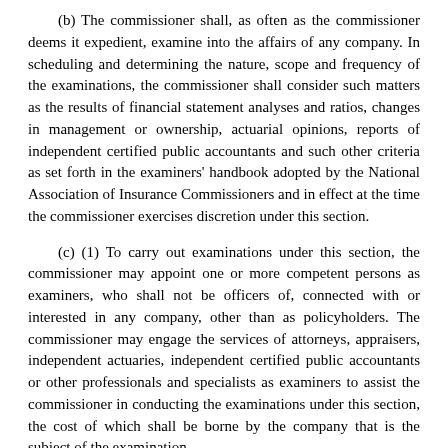(b) The commissioner shall, as often as the commissioner deems it expedient, examine into the affairs of any company. In scheduling and determining the nature, scope and frequency of the examinations, the commissioner shall consider such matters as the results of financial statement analyses and ratios, changes in management or ownership, actuarial opinions, reports of independent certified public accountants and such other criteria as set forth in the examiners' handbook adopted by the National Association of Insurance Commissioners and in effect at the time the commissioner exercises discretion under this section.
(c) (1) To carry out examinations under this section, the commissioner may appoint one or more competent persons as examiners, who shall not be officers of, connected with or interested in any company, other than as policyholders. The commissioner may engage the services of attorneys, appraisers, independent actuaries, independent certified public accountants or other professionals and specialists as examiners to assist the commissioner in conducting the examinations under this section, the cost of which shall be borne by the company that is the subject of the examination.
(2) In conducting the examination, the commissioner, the commissioner's actuary, or any examiner authorized by the